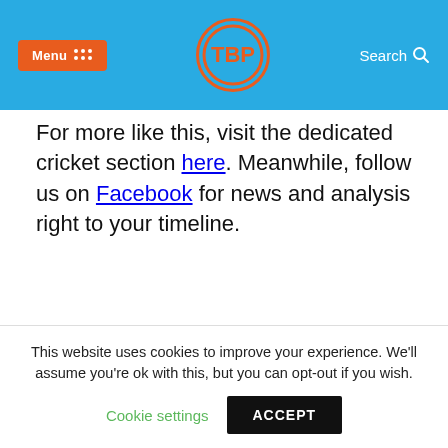Menu | [logo] | Search
For more like this, visit the dedicated cricket section here. Meanwhile, follow us on Facebook for news and analysis right to your timeline.
TAGS: ADIL RASHID  BEN STOKES  EDGBASTON  ENGLAND  INDIA  ISHANT SHARMA  JIMMY ANDERSON  JOE ROOT  JONNY BAIRSTOW  VIRAT KOHLI
This website uses cookies to improve your experience. We'll assume you're ok with this, but you can opt-out if you wish. Cookie settings  ACCEPT